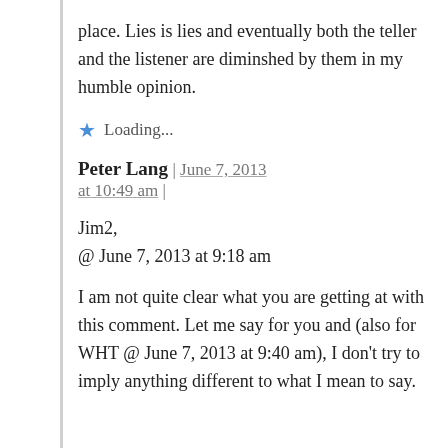place. Lies is lies and eventually both the teller and the listener are diminshed by them in my humble opinion.
★ Loading...
Peter Lang | June 7, 2013 at 10:49 am |
Jim2,
@ June 7, 2013 at 9:18 am
I am not quite clear what you are getting at with this comment. Let me say for you and (also for WHT @ June 7, 2013 at 9:40 am), I don't try to imply anything different to what I mean to say.